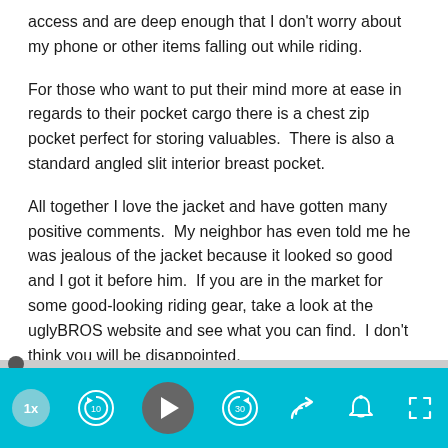access and are deep enough that I don't worry about my phone or other items falling out while riding.
For those who want to put their mind more at ease in regards to their pocket cargo there is a chest zip pocket perfect for storing valuables.  There is also a standard angled slit interior breast pocket.
All together I love the jacket and have gotten many positive comments.  My neighbor has even told me he was jealous of the jacket because it looked so good and I got it before him.  If you are in the market for some good-looking riding gear, take a look at the uglyBROS website and see what you can find.  I don't think you will be disappointed.
[Figure (screenshot): Audio/video player controls bar with cyan/teal background, showing speed button (1x), rewind 10s, play button, forward 30s, share, bell/notification, and fullscreen icons.]